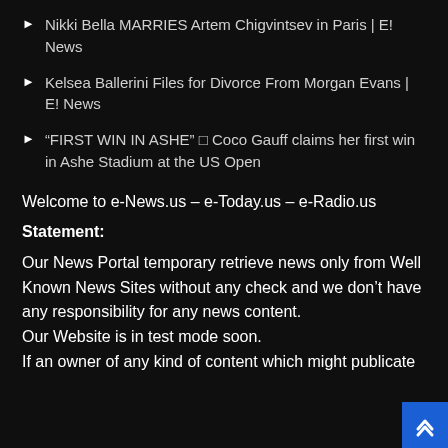Nikki Bella MARRIES Artem Chigvintsev in Paris | E! News
Kelsea Ballerini Files for Divorce From Morgan Evans | E! News
“FIRST WIN IN ASHE” □ Coco Gauff claims her first win in Ashe Stadium at the US Open
Welcome to e-News.us – e-Today.us – e-Radio.us
Statement:
Our News Portal temporary retrieve news only from Well Known News Sites without any check and we don’t have any responsibility for any news content.
Our Website is in test mode soon.
If an owner of any kind of content which might publicate